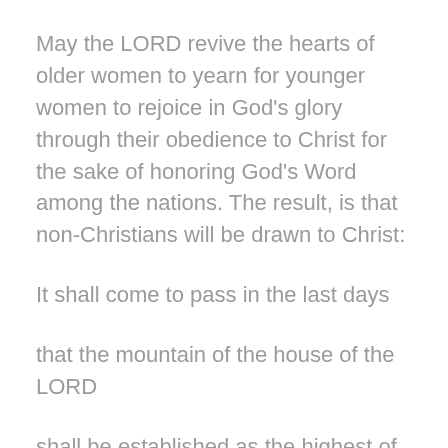May the LORD revive the hearts of older women to yearn for younger women to rejoice in God's glory through their obedience to Christ for the sake of honoring God's Word among the nations. The result, is that non-Christians will be drawn to Christ:
It shall come to pass in the last days
that the mountain of the house of the LORD
shall be established as the highest of the mountains,
and shall be lifted up above the hills;